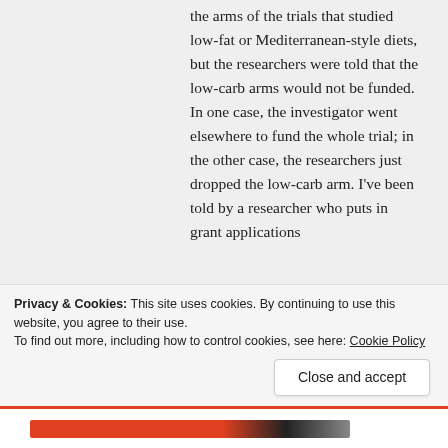the arms of the trials that studied low-fat or Mediterranean-style diets, but the researchers were told that the low-carb arms would not be funded. In one case, the investigator went elsewhere to fund the whole trial; in the other case, the researchers just dropped the low-carb arm. I've been told by a researcher who puts in grant applications to study low-carb diets that the
Privacy & Cookies: This site uses cookies. By continuing to use this website, you agree to their use.
To find out more, including how to control cookies, see here: Cookie Policy
Close and accept